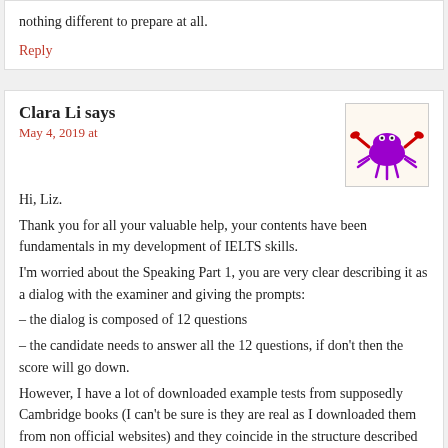nothing different to prepare at all.
Reply
Clara Li says
May 4, 2019 at
[Figure (illustration): Cartoon crab avatar image in purple/red colors on light background]
Hi, Liz.
Thank you for all your valuable help, your contents have been fundamentals in my development of IELTS skills.
I'm worried about the Speaking Part 1, you are very clear describing it as a dialog with the examiner and giving the prompts:
– the dialog is composed of 12 questions
– the candidate needs to answer all the 12 questions, if don't then the score will go down.
However, I have a lot of downloaded example tests from supposedly Cambridge books (I can't be sure is they are real as I downloaded them from non official websites) and they coincide in the structure described by you in all the 4 skills and their